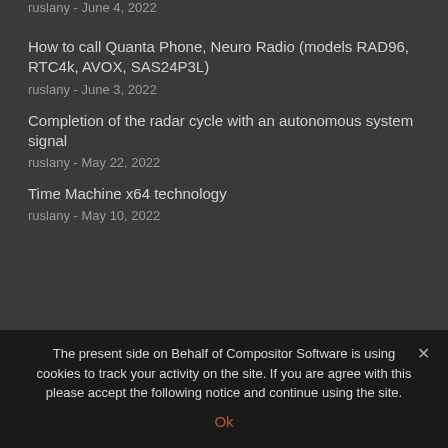ruslany - June 4, 2022
How to call Quanta Phone, Neuro Radio (models RAD96, RTC4k, AVOX, SAS24P3L)
ruslany - June 3, 2022
Completion of the radar cycle with an autonomous system signal
ruslany - May 22, 2022
Time Machine x64 technology
ruslany - May 10, 2022
The present side on Behalf of Compositor Software is using cookies to track your activity on the site. If you are agree with this please accept the following notice and continue using the site.
Ok